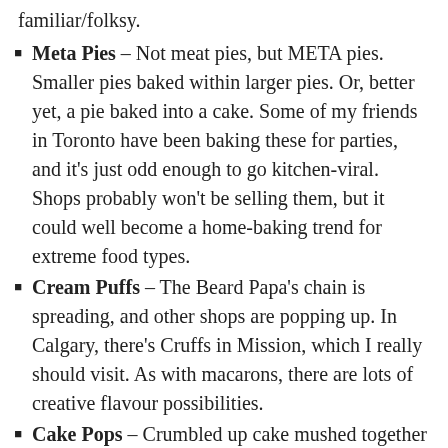familiar/folksy.
Meta Pies – Not meat pies, but META pies. Smaller pies baked within larger pies. Or, better yet, a pie baked into a cake. Some of my friends in Toronto have been baking these for parties, and it's just odd enough to go kitchen-viral. Shops probably won't be selling them, but it could well become a home-baking trend for extreme food types.
Cream Puffs – The Beard Papa's chain is spreading, and other shops are popping up. In Calgary, there's Cruffs in Mission, which I really should visit. As with macarons, there are lots of creative flavour possibilities.
Cake Pops – Crumbled up cake mushed together with frosting, jammed onto a stick and dunked in melted chocolate – an idea so good even Starbucks got in on the action